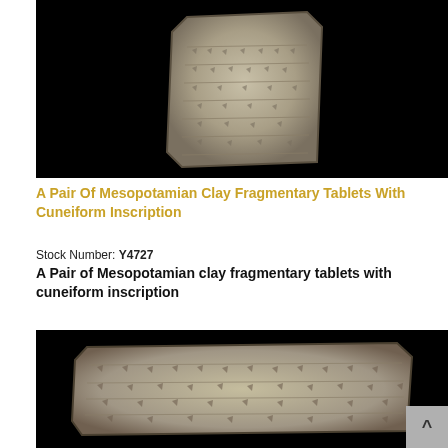[Figure (photo): A Mesopotamian clay fragmentary tablet with cuneiform inscription photographed against a black background, showing a roughly rectangular clay fragment with rows of cuneiform script impressions on its surface.]
A Pair Of Mesopotamian Clay Fragmentary Tablets With Cuneiform Inscription
Stock Number: Y4727
A Pair of Mesopotamian clay fragmentary tablets with cuneiform inscription
[Figure (photo): Second Mesopotamian clay fragmentary tablet with cuneiform inscription photographed against a black background, showing a wider, flatter clay fragment with visible cuneiform markings across its face.]